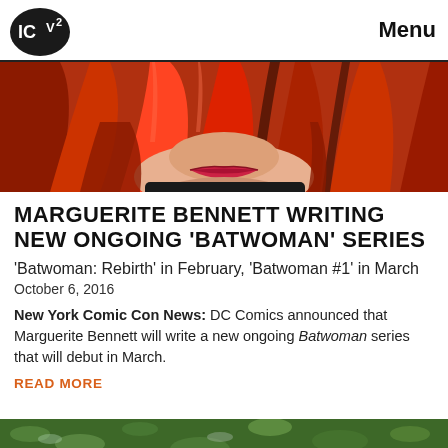ICv2  Menu
[Figure (illustration): Comic book cover art showing a woman with long red hair, close-up of face from nose down showing red lips, dark hair, orange/red tones in background]
MARGUERITE BENNETT WRITING NEW ONGOING 'BATWOMAN' SERIES
'Batwoman: Rebirth' in February, 'Batwoman #1' in March
October 6, 2016
New York Comic Con News: DC Comics announced that Marguerite Bennett will write a new ongoing Batwoman series that will debut in March.
READ MORE
[Figure (illustration): Partially visible image at bottom showing green/blue textured background, likely another comic book image]